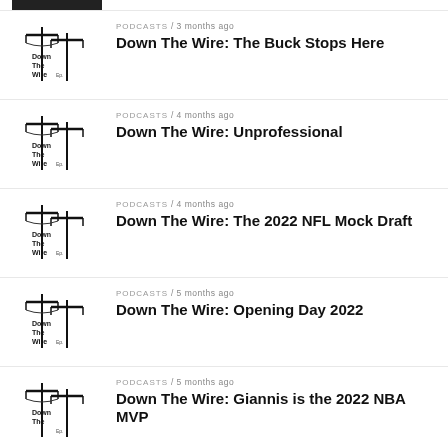[Figure (photo): Dark/black podcast thumbnail image at top left]
[Figure (logo): Down The Wire logo - telephone pole illustration]
PODCASTS / 3 months ago
Down The Wire: The Buck Stops Here
[Figure (logo): Down The Wire logo - telephone pole illustration]
PODCASTS / 4 months ago
Down The Wire: Unprofessional
[Figure (logo): Down The Wire logo - telephone pole illustration]
PODCASTS / 4 months ago
Down The Wire: The 2022 NFL Mock Draft
[Figure (logo): Down The Wire logo - telephone pole illustration]
PODCASTS / 5 months ago
Down The Wire: Opening Day 2022
[Figure (logo): Down The Wire logo - telephone pole illustration]
PODCASTS / 5 months ago
Down The Wire: Giannis is the 2022 NBA MVP